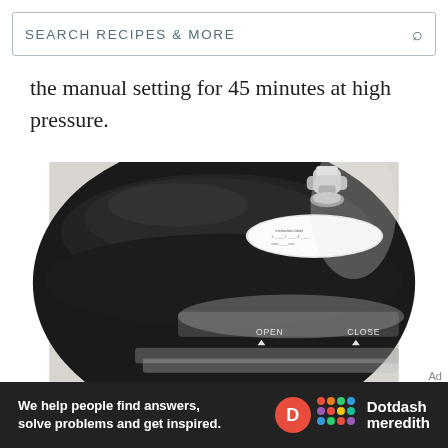SEARCH RECIPES & MORE
the manual setting for 45 minutes at high pressure.
[Figure (photo): Close-up photo of a pressure cooker lid top view, showing a black glossy surface with a metallic steam release valve handle, a white safety label sticker, and the body showing OPEN and CLOSE markings with arrow indicators.]
Ad
We help people find answers, solve problems and get inspired. Dotdash meredith